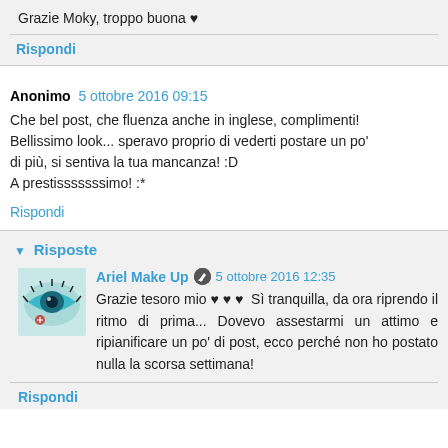Grazie Moky, troppo buona ♥
Rispondi
Anonimo  5 ottobre 2016 09:15
Che bel post, che fluenza anche in inglese, complimenti! Bellissimo look... speravo proprio di vederti postare un po' di più, si sentiva la tua mancanza! :D
A prestisssssssimo! :*
Rispondi
▼ Risposte
Ariel Make Up  5 ottobre 2016 12:35
Grazie tesoro mio ♥ ♥ ♥  Sì tranquilla, da ora riprendo il ritmo di prima... Dovevo assestarmi un attimo e ripianificare un po' di post, ecco perché non ho postato nulla la scorsa settimana!
Rispondi